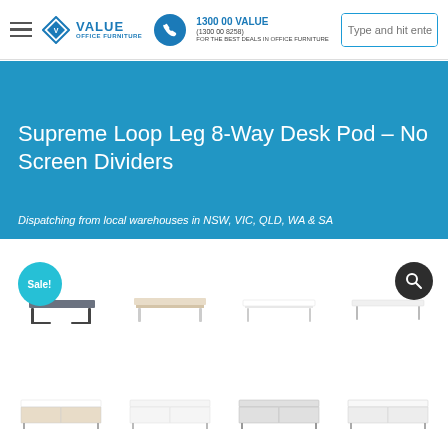Value Office Furniture | 1300 00 VALUE (1300 00 8258)
Supreme Loop Leg 8-Way Desk Pod – No Screen Dividers
Dispatching from local warehouses in NSW, VIC, QLD, WA & SA
[Figure (photo): Product thumbnail images of desk pods in various finishes, with Sale! badge and search icon overlay]
[Figure (photo): Additional product thumbnail images of desk pods in various finishes shown in bottom row]